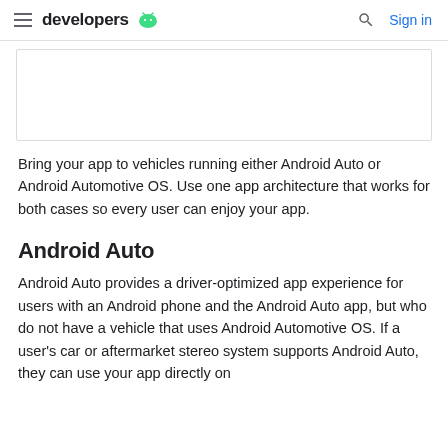developers | Sign in
[Figure (illustration): A rectangular image placeholder with a light border, appears to be a screenshot or diagram partially visible]
Bring your app to vehicles running either Android Auto or Android Automotive OS. Use one app architecture that works for both cases so every user can enjoy your app.
Android Auto
Android Auto provides a driver-optimized app experience for users with an Android phone and the Android Auto app, but who do not have a vehicle that uses Android Automotive OS. If a user's car or aftermarket stereo system supports Android Auto, they can use your app directly on